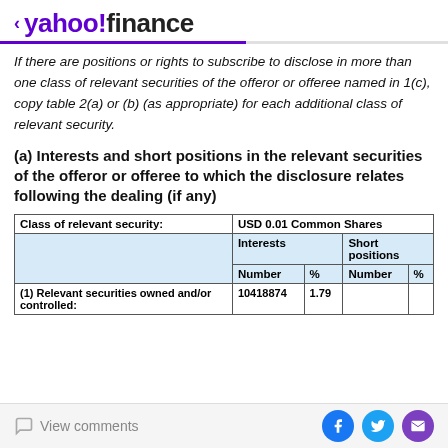< yahoo!finance
If there are positions or rights to subscribe to disclose in more than one class of relevant securities of the offeror or offeree named in 1(c), copy table 2(a) or (b) (as appropriate) for each additional class of relevant security.
(a) Interests and short positions in the relevant securities of the offeror or offeree to which the disclosure relates following the dealing (if any)
| Class of relevant security: | USD 0.01 Common Shares |
| --- | --- |
|  | Interests |  | Short positions |  |
|  | Number | % | Number | % |
| (1) Relevant securities owned and/or controlled: | 10418874 | 1.79 |  |  |
View comments